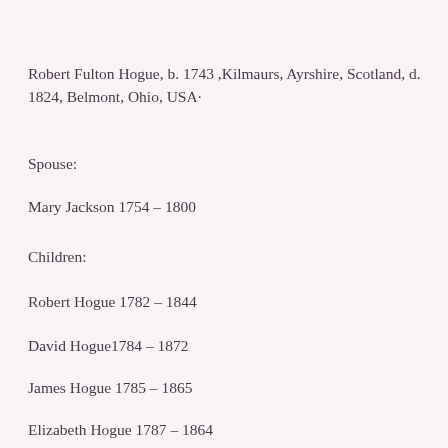Robert Fulton Hogue, b. 1743 ,Kilmaurs, Ayrshire, Scotland, d. 1824, Belmont, Ohio, USA·
Spouse:
Mary Jackson 1754 – 1800
Children:
Robert Hogue 1782 – 1844
David Hogue1784 – 1872
James Hogue 1785 – 1865
Elizabeth Hogue 1787 – 1864